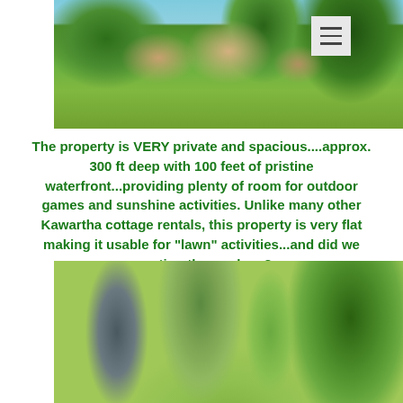[Figure (photo): Exterior photo of a cottage property surrounded by lush green trees and lawn, with a light blue sky visible at the top. A hamburger menu icon appears in the top right corner.]
The property is VERY private and spacious....approx. 300 ft deep with 100 feet of pristine waterfront...providing plenty of room for outdoor games and sunshine activities. Unlike many other Kawartha cottage rentals, this property is very flat making it usable for "lawn" activities...and did we mention the gardens?
[Figure (photo): Outdoor photo showing large trees including what appears to be a weeping willow and tall conifers against a light sky, with green lawn visible at the bottom.]